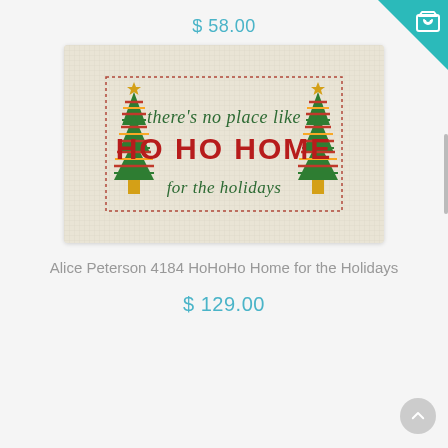$ 58.00
[Figure (photo): Needlepoint canvas product photo showing a rectangular cross-stitch design with text 'there's no place like HO HO HOME for the holidays' with decorative Christmas trees on either side, on a cream/beige grid canvas background]
Alice Peterson 4184 HoHoHo Home for the Holidays
$ 129.00